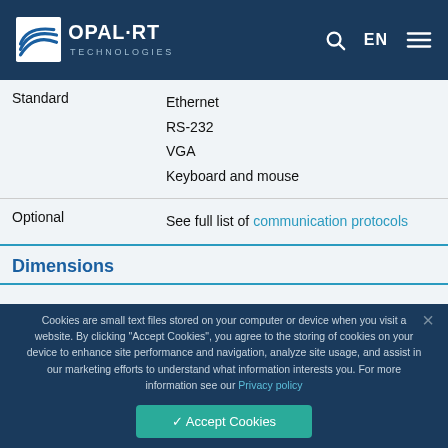OPAL-RT Technologies EN
|  |  |
| --- | --- |
| Standard | Ethernet
RS-232
VGA
Keyboard and mouse |
| Optional | See full list of communication protocols |
Dimensions
Cookies are small text files stored on your computer or device when you visit a website. By clicking "Accept Cookies", you agree to the storing of cookies on your device to enhance site performance and navigation, analyze site usage, and assist in our marketing efforts to understand what information interests you. For more information see our Privacy policy
✓ Accept Cookies